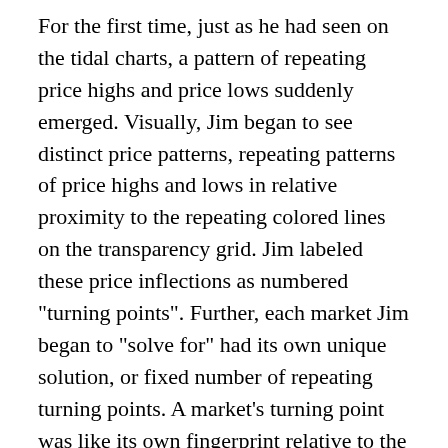For the first time, just as he had seen on the tidal charts, a pattern of repeating price highs and price lows suddenly emerged. Visually, Jim began to see distinct price patterns, repeating patterns of price highs and lows in relative proximity to the repeating colored lines on the transparency grid. Jim labeled these price inflections as numbered "turning points". Further, each market Jim began to "solve for" had its own unique solution, or fixed number of repeating turning points. A market's turning point was like its own fingerprint relative to the colored template, fixed and certain. In a subsequent conversation with Mr.Welles Wilder, Jim described the template as being like a hologram. "Welles, a hologram is made by projecting laser light through a holographic negative, much like a photographic negative. However, if one looks through the holographic negative is normal lighting, it looks like mass confusion. Yet, if the right laser were to shine through the negative, if there was